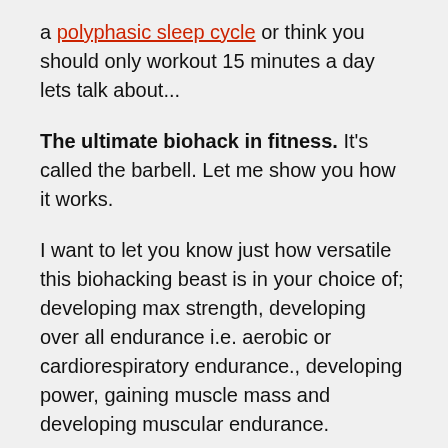a polyphasic sleep cycle or think you should only workout 15 minutes a day lets talk about...
The ultimate biohack in fitness. It's called the barbell. Let me show you how it works.
I want to let you know just how versatile this biohacking beast is in your choice of; developing max strength, developing over all endurance i.e. aerobic or cardiorespiratory endurance., developing power, gaining muscle mass and developing muscular endurance.
Not to mention, training with a barbell can improve coordination, train your central nervous system and make you more mentally...